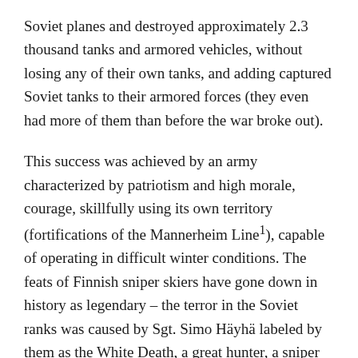Soviet planes and destroyed approximately 2.3 thousand tanks and armored vehicles, without losing any of their own tanks, and adding captured Soviet tanks to their armored forces (they even had more of them than before the war broke out).
This success was achieved by an army characterized by patriotism and high morale, courage, skillfully using its own territory (fortifications of the Mannerheim Line1), capable of operating in difficult winter conditions. The feats of Finnish sniper skiers have gone down in history as legendary – the terror in the Soviet ranks was caused by Sgt. Simo Häyhä labeled by them as the White Death, a great hunter, a sniper who “eliminated” 542 Soviet soldiers during the 98 days of war.